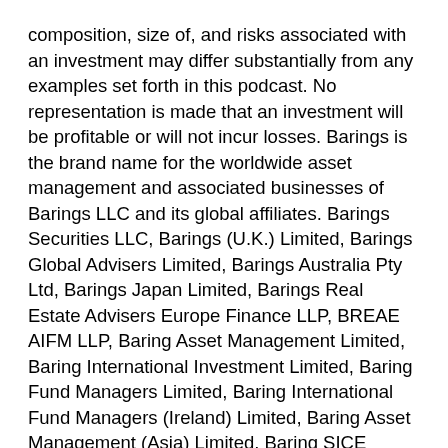composition, size of, and risks associated with an investment may differ substantially from any examples set forth in this podcast. No representation is made that an investment will be profitable or will not incur losses. Barings is the brand name for the worldwide asset management and associated businesses of Barings LLC and its global affiliates. Barings Securities LLC, Barings (U.K.) Limited, Barings Global Advisers Limited, Barings Australia Pty Ltd, Barings Japan Limited, Barings Real Estate Advisers Europe Finance LLP, BREAE AIFM LLP, Baring Asset Management Limited, Baring International Investment Limited, Baring Fund Managers Limited, Baring International Fund Managers (Ireland) Limited, Baring Asset Management (Asia) Limited, Baring SICE (Taiwan) Limited, Baring Asset Management Switzerland Sarl, and Baring Asset Management Korea Limited each are affiliated financial service companies owned by Barings LLC (each, individually, an “Affiliate”). NO OFFER: The podcast is for informational purposes only and is not an offer or solicitation for the purchase or sale of any financial instrument or service in any jurisdiction. The material herein was prepared without any consideration of the investment objectives, financial situation or particular